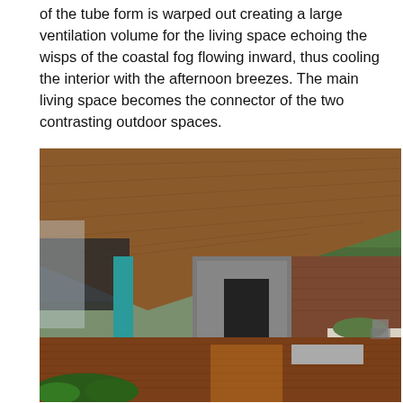of the tube form is warped out creating a large ventilation volume for the living space echoing the wisps of the coastal fog flowing inward, thus cooling the interior with the afternoon breezes. The main living space becomes the connector of the two contrasting outdoor spaces.
[Figure (photo): Exterior architectural photo of a modern house with a sloped wood-paneled ceiling/roof overhang, teal/turquoise steel columns, concrete wall panels, hardwood deck, lush green trees in background, and an ocean or bay view visible to the left.]